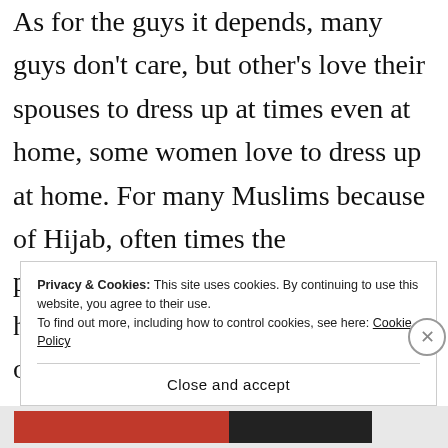As for the guys it depends, many guys don't care, but other's love their spouses to dress up at times even at home, some women love to dress up at home. For many Muslims because of Hijab, often times the perfume,jewelry,dresses are worn at home, which is interesting because often times clothes may be relaxed since heavy dresses are not worn outside, but because of expectations for beauty at home...
Privacy & Cookies: This site uses cookies. By continuing to use this website, you agree to their use.
To find out more, including how to control cookies, see here: Cookie Policy
Close and accept